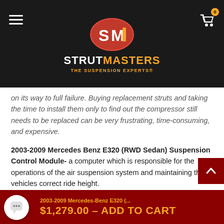StrutMasters – The Suspension Experts
on its way to full failure. Buying replacement struts and taking the time to install them only to find out the compressor still needs to be replaced can be very frustrating, time-consuming, and expensive.
2003-2009 Mercedes Benz E320 (RWD Sedan) Suspension Control Module- a computer which is responsible for the operations of the air suspension system and maintaining the vehicles correct ride height.
2003-2009 Mercedes Benz E320 (RWD Sedan) O-rings- although they are the least expensive parts of t
2003-2009 Mercedes-Benz E320 (... $1,279.00 - ADD TO CART